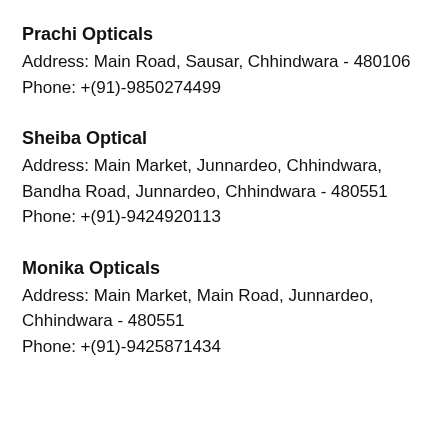Prachi Opticals
Address: Main Road, Sausar, Chhindwara - 480106
Phone: +(91)-9850274499
Sheiba Optical
Address: Main Market, Junnardeo, Chhindwara, Bandha Road, Junnardeo, Chhindwara - 480551
Phone: +(91)-9424920113
Monika Opticals
Address: Main Market, Main Road, Junnardeo, Chhindwara - 480551
Phone: +(91)-9425871434